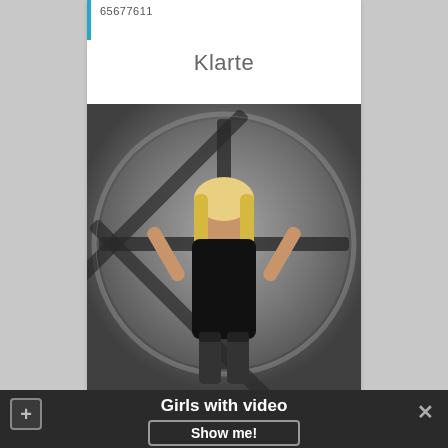65677611
Klarte
[Figure (photo): A woman in a black leather outfit posing in front of a large industrial fan/grate structure]
Girls with video
Show me!